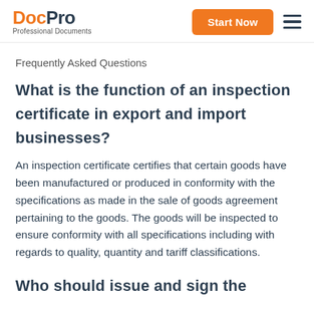DocPro Professional Documents | Start Now
Frequently Asked Questions
What is the function of an inspection certificate in export and import businesses?
An inspection certificate certifies that certain goods have been manufactured or produced in conformity with the specifications as made in the sale of goods agreement pertaining to the goods. The goods will be inspected to ensure conformity with all specifications including with regards to quality, quantity and tariff classifications.
Who should issue and sign the